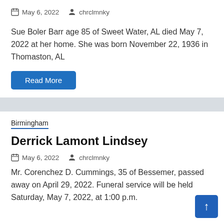May 6, 2022  chrclmnky
Sue Boler Barr age 85 of Sweet Water, AL died May 7, 2022 at her home. She was born November 22, 1936 in Thomaston, AL
Read More
Birmingham
Derrick Lamont Lindsey
May 6, 2022  chrclmnky
Mr. Corenchez D. Cummings, 35 of Bessemer, passed away on April 29, 2022. Funeral service will be held Saturday, May 7, 2022, at 1:00 p.m.